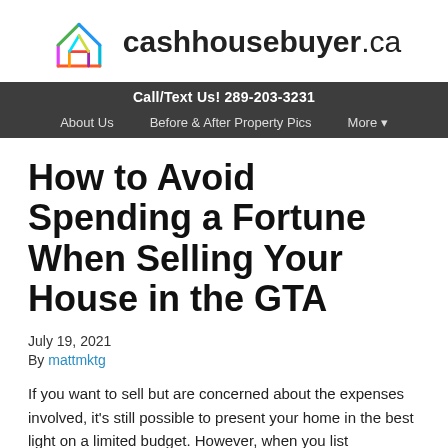[Figure (logo): Cashhousebuyer.ca logo — colorful house outline icon next to the text 'cashhousebuyer.ca']
Call/Text Us! 289-203-3231
About Us   Before & After Property Pics   More ▾
How to Avoid Spending a Fortune When Selling Your House in the GTA
July 19, 2021
By mattmktg
If you want to sell but are concerned about the expenses involved, it's still possible to present your home in the best light on a limited budget. However, when you list